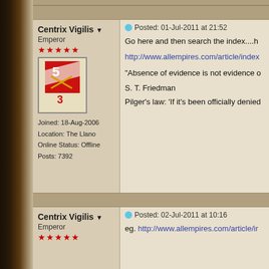Centrix Vigilis
Emperor
Joined: 18-Aug-2006
Location: The Llano
Online Status: Offline
Posts: 7392
Posted: 01-Jul-2011 at 21:52
Go here and then search the index....h
http://www.allempires.com/article/index
"Absence of evidence is not evidence o
S. T. Friedman
Pilger's law: 'If it's been officially denied
Centrix Vigilis
Emperor
Posted: 02-Jul-2011 at 10:16
eg. http://www.allempires.com/article/ir